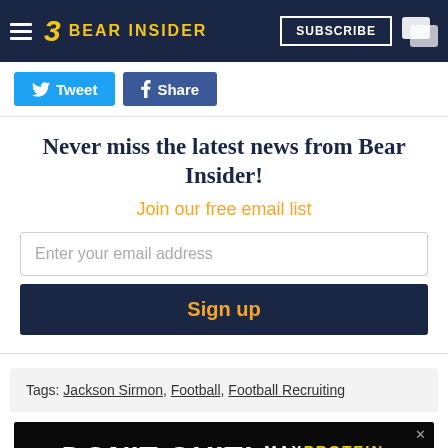Bear Insider
[Figure (screenshot): Social sharing buttons: Tweet (Twitter/blue) and Share (Facebook/blue)]
Never miss the latest news from Bear Insider!
Join our free email list
Enter your email address
Sign up
Tags: Jackson Sirmon, Football, Football Recruiting
[Figure (infographic): DON'T QUIT! MAX PROTEIN advertisement banner]